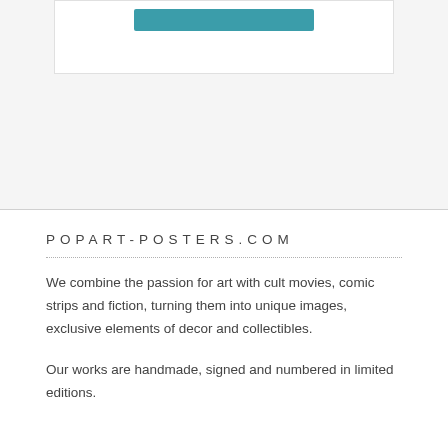[Figure (screenshot): Top portion showing a white card with a teal/blue button inside, on a light gray background]
POPART-POSTERS.COM
We combine the passion for art with cult movies, comic strips and fiction, turning them into unique images, exclusive elements of decor and collectibles.
Our works are handmade, signed and numbered in limited editions.